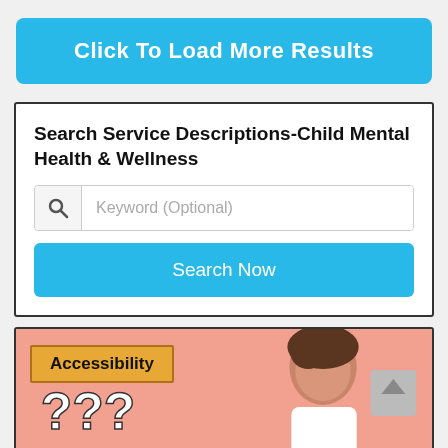Click To Load More Results
Search Service Descriptions-Child Mental Health & Wellness
Keyword (Optional)
Search Now
Accessibility